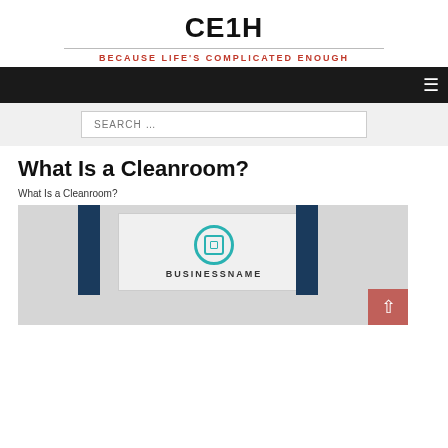CE1H
BECAUSE LIFE'S COMPLICATED ENOUGH
What Is a Cleanroom?
What Is a Cleanroom?
[Figure (photo): Photo of a cleanroom product display with a business card or panel showing a teal circular logo and the text BUSINESSNAME, flanked by dark blue pillars on a grey background. A pink/red scroll-to-top button is visible in the bottom right.]